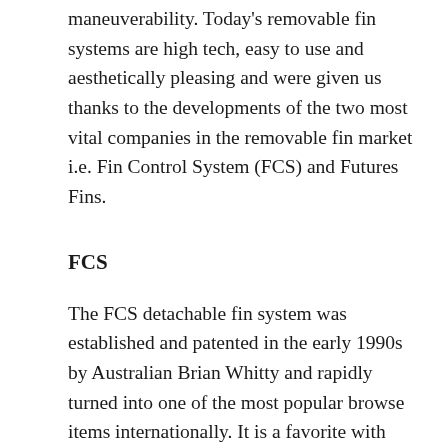maneuverability. Today's removable fin systems are high tech, easy to use and aesthetically pleasing and were given us thanks to the developments of the two most vital companies in the removable fin market i.e. Fin Control System (FCS) and Futures Fins.
FCS
The FCS detachable fin system was established and patented in the early 1990s by Australian Brian Whitty and rapidly turned into one of the most popular browse items internationally. It is a favorite with surf world title winners and has actually been made use of in countless surf